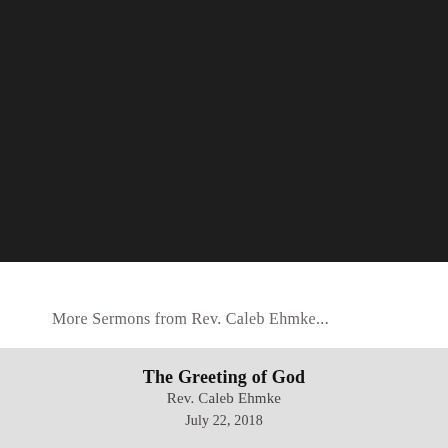[Figure (photo): Dark near-black background image occupying the top portion of the page]
More Sermons from Rev. Caleb Ehmke...
The Greeting of God
Rev. Caleb Ehmke
July 22, 2018